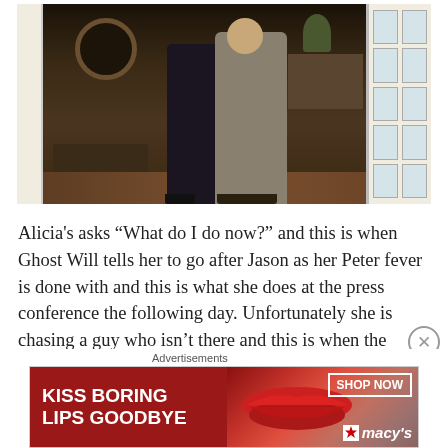[Figure (photo): A scene showing two figures standing in a doorway in a dimly lit interior room. A woman in a dark dress and heels and a man in a light gray suit face each other near open French doors. The background shows a console table, round mirror, plants, and a windowed patio door on the right.]
Alicia's asks “What do I do now?” and this is when Ghost Will tells her to go after Jason as her Peter fever is done with and this is what she does at the press conference the following day. Unfortunately she is chasing a guy who isn’t there and this is when the corridor of slapping gets
Advertisements
[Figure (photo): Advertisement banner: red background with 'KISS BORING LIPS GOODBYE' text on left, lips photo in center, and 'SHOP NOW' box with Macy's star logo on right.]